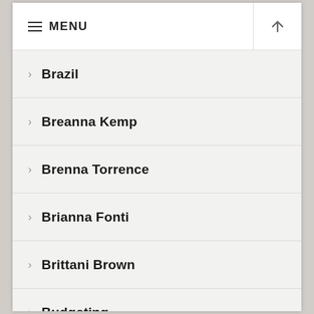MENU
Brazil
Breanna Kemp
Brenna Torrence
Brianna Fonti
Brittani Brown
Budgeting
Cahleb Derry
Caitie Taylor
Caitlin Sullivan
Caitlyn Heter
Cambriae Bates